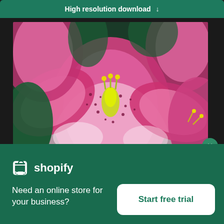High resolution download ↓
[Figure (photo): Close-up photograph of pink and white stargazer lily flowers with dark speckles and yellow stamens, surrounded by green leaves]
[Figure (logo): Shopify logo: white shopping bag icon followed by white text 'shopify']
Need an online store for your business?
Start free trial